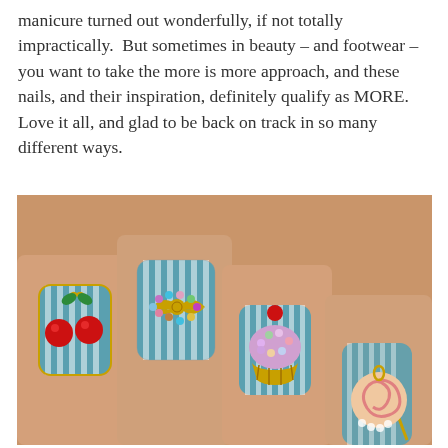manicure turned out wonderfully, if not totally impractically.  But sometimes in beauty – and footwear – you want to take the more is more approach, and these nails, and their inspiration, definitely qualify as MORE. Love it all, and glad to be back on track in so many different ways.
[Figure (photo): Close-up photo of four fingernails decorated with 3D jewelry charms on a teal and white striped nail polish background. From left to right: red cherries with gold stems and green leaves, a colorful rhinestone bow, a rhinestone-studded cupcake with a red cherry on top, and a swirled lollipop with rhinestones.]